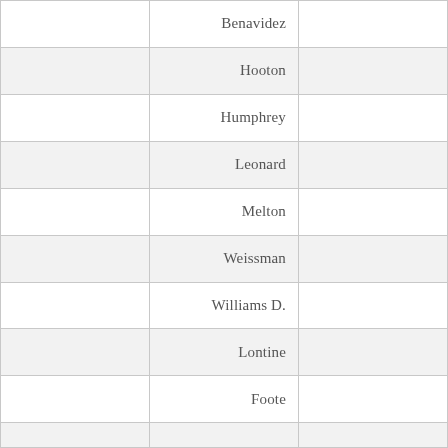|  | Benavidez |  |
|  | Hooton |  |
|  | Humphrey |  |
|  | Leonard |  |
|  | Melton |  |
|  | Weissman |  |
|  | Williams D. |  |
|  | Lontine |  |
|  | Foote |  |
|  |  |  |